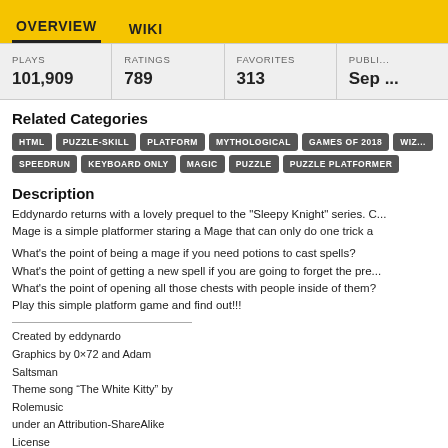OVERVIEW   WIKI
| PLAYS | RATINGS | FAVORITES | PUBLI... |
| --- | --- | --- | --- |
| 101,909 | 789 | 313 | Sep ... |
Related Categories
HTML  PUZZLE-SKILL  PLATFORM  MYTHOLOGICAL  GAMES OF 2018  WIZ...  SPEEDRUN  KEYBOARD ONLY  MAGIC  PUZZLE  PUZZLE PLATFORMER
Description
Eddynardo returns with a lovely prequel to the "Sleepy Knight" series. Mage is a simple platformer staring a Mage that can only do one trick a
What's the point of being a mage if you need potions to cast spells?
What's the point of getting a new spell if you are going to forget the pre...
What's the point of opening all those chests with people inside of them?
Play this simple platform game and find out!!!
Created by eddynardo
Graphics by 0×72 and Adam Saltsman
Theme song “The White Kitty” by Rolemusic
under an Attribution-ShareAlike License